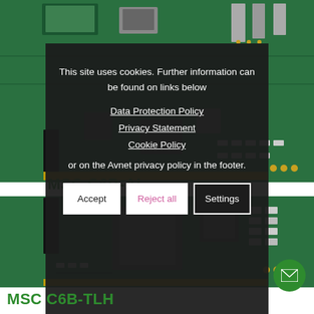[Figure (photo): Close-up photo of a green circuit board (MSC C6B series) showing processor chip, connectors, and electronic components]
MSC C6B-AL
[Figure (screenshot): Cookie consent modal overlay with dark background showing privacy policy links and Accept/Reject all/Settings buttons]
This site uses cookies. Further information can be found on links below
Data Protection Policy
Privacy Statement
Cookie Policy
or on the Avnet privacy policy in the footer.
[Figure (photo): Close-up photo of a green circuit board (MSC C6B-TLH) showing large processor, memory modules, and other components]
MSC C6B-TLH